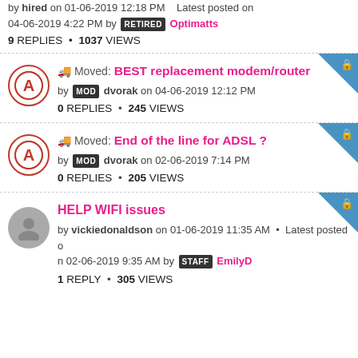by hired on 01-06-2019 12:18 PM · Latest posted on 04-06-2019 4:22 PM by RETIRED Optimatts
9 REPLIES • 1037 VIEWS
Moved: BEST replacement modem/router
by MOD dvorak on 04-06-2019 12:12 PM
0 REPLIES • 245 VIEWS
Moved: End of the line for ADSL ?
by MOD dvorak on 02-06-2019 7:14 PM
0 REPLIES • 205 VIEWS
HELP WIFI issues
by vickiedonaldson on 01-06-2019 11:35 AM • Latest posted on 02-06-2019 9:35 AM by STAFF EmilyD
1 REPLY • 305 VIEWS